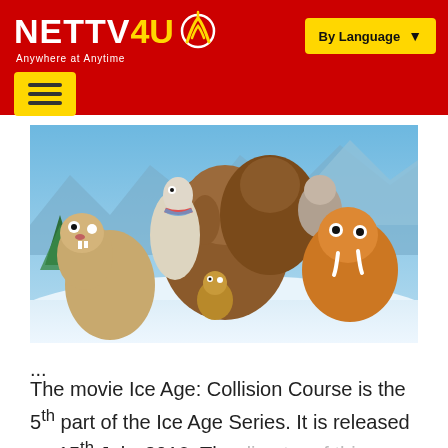NETTV4U - Anywhere at Anytime | By Language
[Figure (screenshot): Hamburger menu button (yellow) on red header bar]
[Figure (photo): Movie promotional image for Ice Age: Collision Course showing animated characters including a sloth, saber-tooth tiger, mammoth, and other animals in a snowy landscape]
...
The movie Ice Age: Collision Course is the 5th part of the Ice Age Series. It is released on 15th July, 2016. The director of this movie...